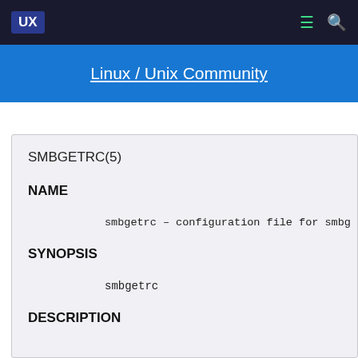UX  ☰  🔍
Linux / Unix Community
SMBGETRC(5)
NAME
smbgetrc – configuration file for smbg
SYNOPSIS
smbgetrc
DESCRIPTION